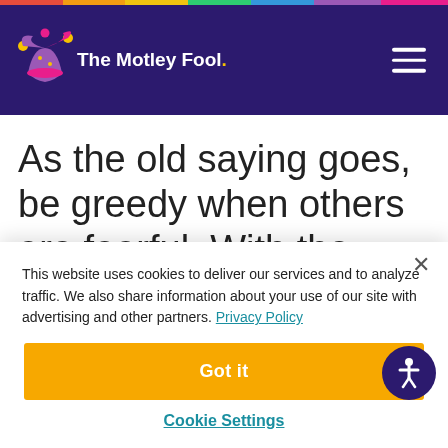[Figure (logo): The Motley Fool logo with jester hat in purple, pink, yellow on dark purple background header]
As the old saying goes, be greedy when others are fearful. With the market swooning from coronavirus
This website uses cookies to deliver our services and to analyze traffic. We also share information about your use of our site with advertising and other partners. Privacy Policy
Got it
Cookie Settings